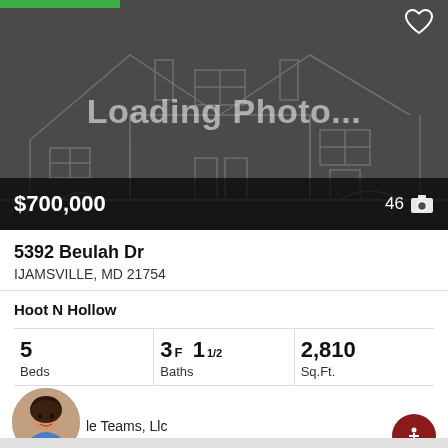[Figure (screenshot): Real estate listing app screenshot showing a loading photo placeholder of a house outline on dark gray background with price $700,000 and photo count 46]
$700,000
46
5392 Beulah Dr
IJAMSVILLE, MD 21754
Hoot N Hollow
5 Beds
3F 11/2 Baths
2,810 Sq.Ft.
le Teams, Llc